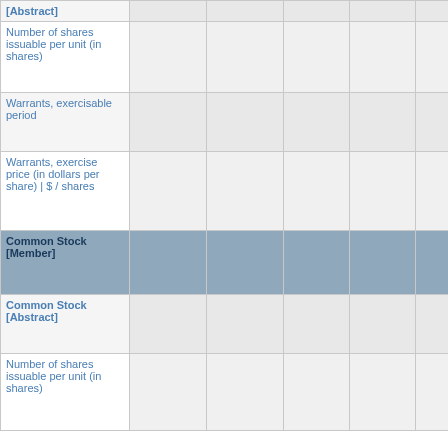|  |  |  |  |  |  |
| --- | --- | --- | --- | --- | --- |
| [Abstract] |  |  |  |  |  |
| Number of shares issuable per unit (in shares) |  |  |  |  | 0.5 |
| Warrants, exercisable period |  |  |  |  |  |
| Warrants, exercise price (in dollars per share) | $ / shares |  |  |  |  |  |
| Common Stock [Member] |  |  |  |  |  |
| Common Stock [Abstract] |  |  |  |  |  |
| Number of shares issuable per unit (in shares) |  |  |  |  | 1 |